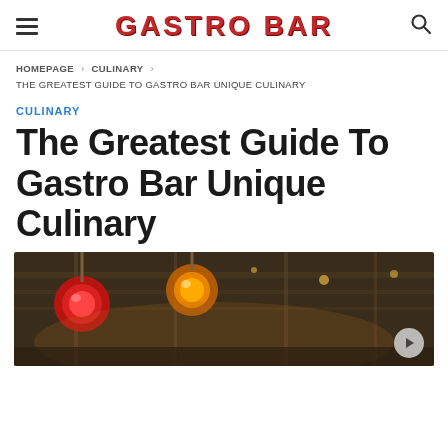GASTRO BAR
HOMEPAGE › CULINARY › THE GREATEST GUIDE TO GASTRO BAR UNIQUE CULINARY
CULINARY
The Greatest Guide To Gastro Bar Unique Culinary
[Figure (photo): Interior of a gastro bar showing industrial-style ceiling with exposed pipes and colorful stage lights including red and orange/yellow spotlights hanging from above]